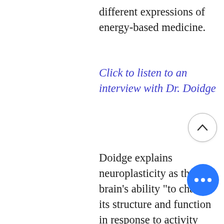different expressions of energy-based medicine.
Click to listen to an interview with Dr. Doidge
Doidge explains neuroplasticity as the brain's ability "to change its structure and function in response to activity and mental experience," which includes our sensory experience. Our senses, such as vision and hearing, he explains, "involve taking energy, patterns of information, from the external environment and translating them into patterns of electrical energy which is the lingua francaof the brain." By learn speak the brain's language, we ca communicate with it and, as this books